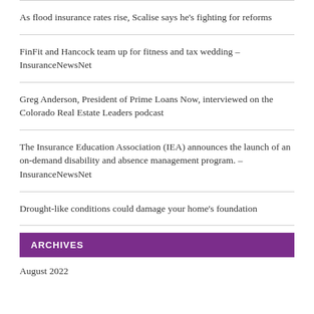As flood insurance rates rise, Scalise says he’s fighting for reforms
FinFit and Hancock team up for fitness and tax wedding – InsuranceNewsNet
Greg Anderson, President of Prime Loans Now, interviewed on the Colorado Real Estate Leaders podcast
The Insurance Education Association (IEA) announces the launch of an on-demand disability and absence management program. – InsuranceNewsNet
Drought-like conditions could damage your home’s foundation
ARCHIVES
August 2022